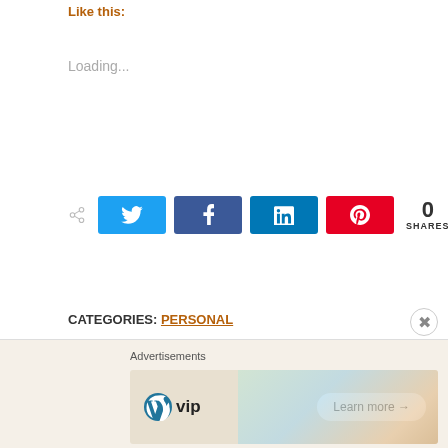Like this:
Loading...
[Figure (infographic): Social share buttons: Twitter (blue), Facebook (dark blue), LinkedIn (blue), Pinterest (red), with share count showing 0 SHARES]
CATEGORIES: PERSONAL
TAGS: #KRYSTALSMINDBLOG #VALENTINESDAYPOST, #LOVING, #VALENTINESDAY, #VALENTINESDAY2020, #VALENTINESDAYBLOG
[Figure (infographic): Advertisement banner: Advertisements label, WordPress VIP logo, colorful background with slack/facebook branding, Learn more button]
Advertisements